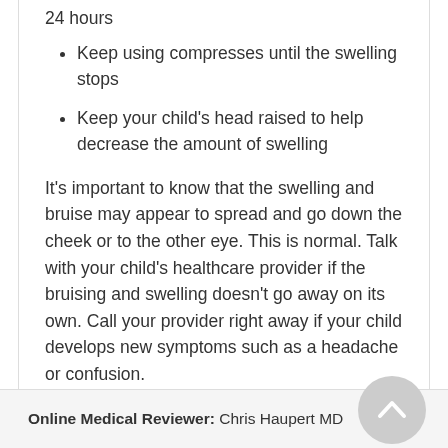24 hours
Keep using compresses until the swelling stops
Keep your child's head raised to help decrease the amount of swelling
It's important to know that the swelling and bruise may appear to spread and go down the cheek or to the other eye. This is normal. Talk with your child's healthcare provider if the bruising and swelling doesn't go away on its own. Call your provider right away if your child develops new symptoms such as a headache or confusion.
Online Medical Reviewer: Chris Haupert MD